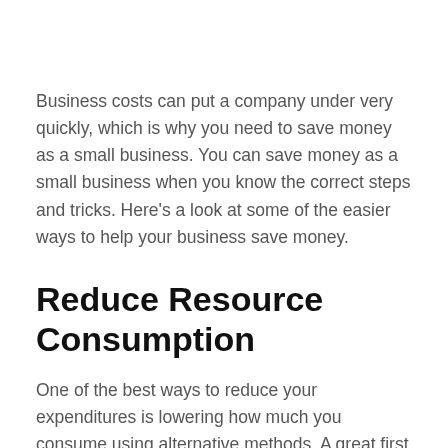Business costs can put a company under very quickly, which is why you need to save money as a small business. You can save money as a small business when you know the correct steps and tricks. Here's a look at some of the easier ways to help your business save money.
Reduce Resource Consumption
One of the best ways to reduce your expenditures is lowering how much you consume using alternative methods. A great first step is